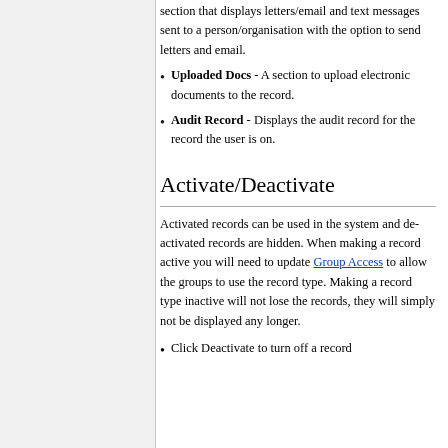section that displays letters/email and text messages sent to a person/organisation with the option to send letters and email.
Uploaded Docs - A section to upload electronic documents to the record.
Audit Record - Displays the audit record for the record the user is on.
Activate/Deactivate
Activated records can be used in the system and de-activated records are hidden. When making a record active you will need to update Group Access to allow the groups to use the record type. Making a record type inactive will not lose the records, they will simply not be displayed any longer.
Click Deactivate to turn off a record